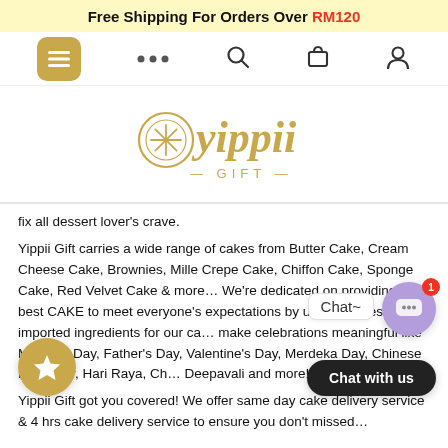Free Shipping For Orders Over RM120
[Figure (screenshot): Navigation bar with hamburger menu button (gold), three dots, search icon, cart icon, and user icon]
[Figure (logo): Yippii Gift logo in gold script with decorative circular emblem and '- GIFT -' text below]
fix all dessert lover’s crave.
Yippii Gift carries a wide range of cakes from Butter Cake, Cream Cheese Cake, Brownies, Mille Crepe Cake, Chiffon Cake, Sponge Cake, Red Velvet Cake & more… We’re dedicated on providing the best CAKE to meet everyone’s expectations by using freshest & imported ingredients for our ca… make celebrations meaningful like Mother’s Day, Father’s Day, Valentine’s Day, Merdeka Day, Chinese New Year, Hari Raya, Ch… Deepavali and more!
Yippii Gift got you covered! We offer same day cake delivery service & 4 hrs cake delivery service to ensure you don’t missed…